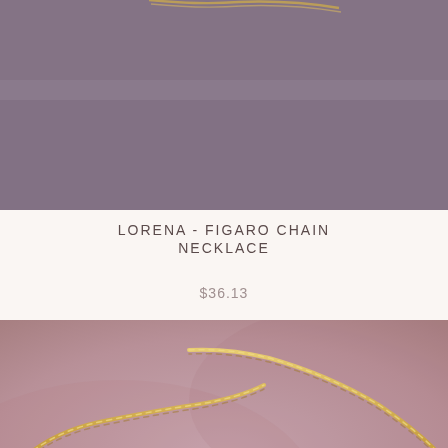[Figure (photo): Top portion of a product photo showing a necklace against a muted purple-gray fabric background]
LORENA - FIGARO CHAIN NECKLACE
$36.13
[Figure (photo): Close-up product photo of a gold figaro/rope chain necklace laid out in a wavy S-curve on a dusty rose/mauve pink fabric background]